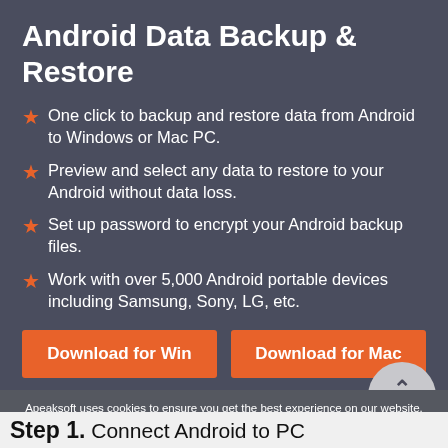Android Data Backup & Restore
One click to backup and restore data from Android to Windows or Mac PC.
Preview and select any data to restore to your Android without data loss.
Set up password to encrypt your Android backup files.
Work with over 5,000 Android portable devices including Samsung, Sony, LG, etc.
[Figure (other): Two orange download buttons: 'Download for Win' and 'Download for Mac', with a circular grey TOP button overlay]
Apeaksoft uses cookies to ensure you get the best experience on our website.
Privacy Policy   Got it!
Step 1. Connect Android to PC